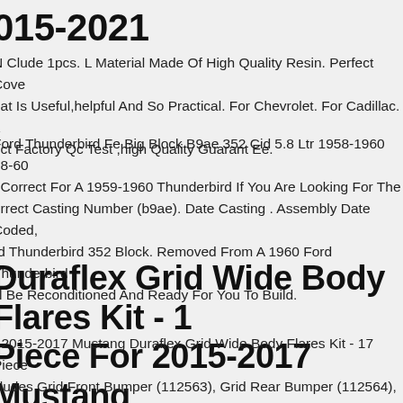015-2021
N Clude 1pcs. L Material Made Of High Quality Resin. Perfect Cove hat Is Useful,helpful And So Practical. For Chevrolet. For Cadillac. L rict Factory Qc Test ,high Quality Guarant Ee.
Ford Thunderbird Fe Big Block B9ae 352 Cid 5.8 Ltr 1958-1960 58-60 . Correct For A 1959-1960 Thunderbird If You Are Looking For The orrect Casting Number (b9ae). Date Casting . Assembly Date Coded, rd Thunderbird 352 Block. Removed From A 1960 Ford Thunderbird ill Be Reconditioned And Ready For You To Build.
Duraflex Grid Wide Body Flares Kit - 1 Piece For 2015-2017 Mustang
r 2015-2017 Mustang Duraflex Grid Wide Body Flares Kit - 17 Piece cludes Grid Front Bumper (112563), Grid Rear Bumper (112564), Gri de Skirts (112565), Grid Front Fender Flares (112566), Grid Rear nder Flares (112567), Grid Wing (112568), Cowl Hood (112580), Grid